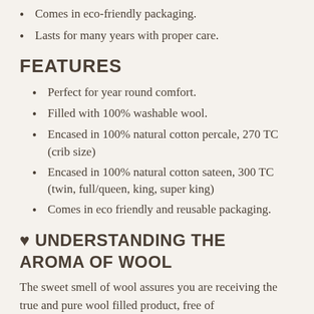Comes in eco-friendly packaging.
Lasts for many years with proper care.
FEATURES
Perfect for year round comfort.
Filled with 100% washable wool.
Encased in 100% natural cotton percale, 270 TC (crib size)
Encased in 100% natural cotton sateen, 300 TC (twin, full/queen, king, super king)
Comes in eco friendly and reusable packaging.
♥ UNDERSTANDING THE AROMA OF WOOL
The sweet smell of wool assures you are receiving the true and pure wool filled product, free of